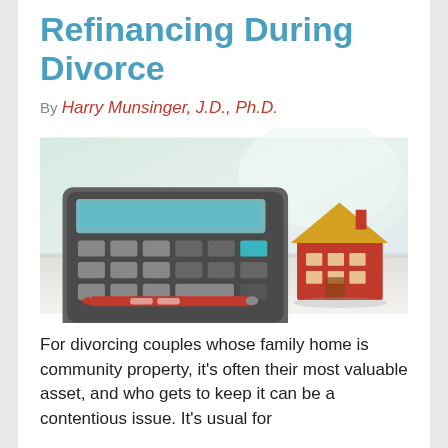Refinancing During Divorce
By Harry Munsinger, J.D., Ph.D.
[Figure (photo): A calculator, a small model house, and a red pen on a white surface — symbolizing home finance and mortgage refinancing during divorce proceedings.]
For divorcing couples whose family home is community property, it's often their most valuable asset, and who gets to keep it can be a contentious issue. It's usual for